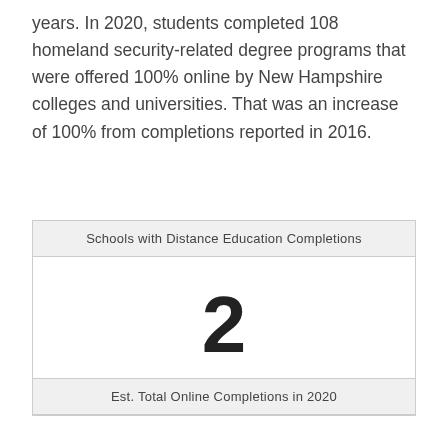years. In 2020, students completed 108 homeland security-related degree programs that were offered 100% online by New Hampshire colleges and universities. That was an increase of 100% from completions reported in 2016.
| Schools with Distance Education Completions |
| --- |
| 2 |
| Est. Total Online Completions in 2020 |
| --- |
|  |